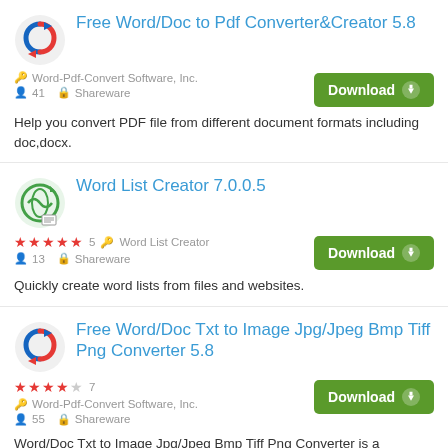Free Word/Doc to Pdf Converter&Creator 5.8
Word-Pdf-Convert Software, Inc.
41  Shareware
Help you convert PDF file from different document formats including doc,docx.
Word List Creator 7.0.0.5
★★★★★ 5  Word List Creator
13  Shareware
Quickly create word lists from files and websites.
Free Word/Doc Txt to Image Jpg/Jpeg Bmp Tiff Png Converter 5.8
★★★★☆ 7  Word-Pdf-Convert Software, Inc.
55  Shareware
Word/Doc Txt to Image Jpg/Jpeg Bmp Tiff Png Converter is a converting tool.